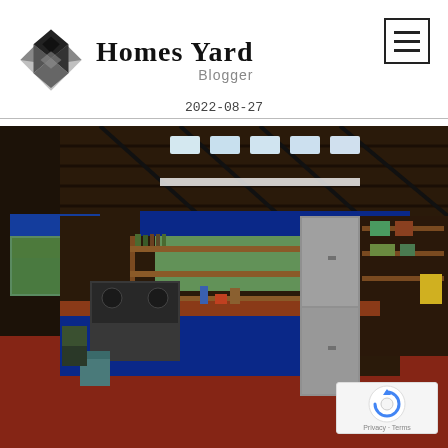[Figure (logo): Homes Yard Blogger logo with geometric diamond/house shape icon in black and grey, and text 'Homes Yard' in bold serif with 'Blogger' subtitle]
2022-08-27
[Figure (photo): Interior photo of a rustic kitchen with dark wood beam ceiling, floral blue curtains under windows and counter, wooden shelves with food items, a gas stove, refrigerator, and red/terracotta floor]